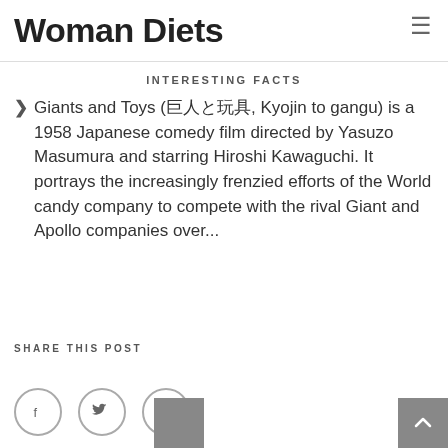Woman Diets
INTERESTING FACTS
Giants and Toys (巨人と玩具, Kyojin to gangu) is a 1958 Japanese comedy film directed by Yasuzo Masumura and starring Hiroshi Kawaguchi. It portrays the increasingly frenzied efforts of the World candy company to compete with the rival Giant and Apollo companies over...
SHARE THIS POST
[Figure (other): Social sharing icons: Facebook, Twitter, Google+. Back to top button (arrow up) on the right.]